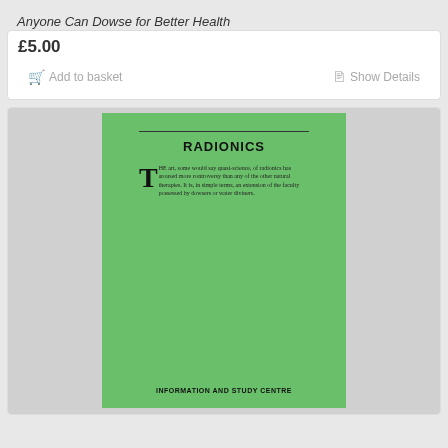Anyone Can Dowse for Better Health
£5.00
Add to basket
Show Details
[Figure (photo): Green book cover titled RADIONICS with a horizontal line, bold title, a drop-cap paragraph describing radionics, and text at the bottom reading INFORMATION AND STUDY CENTRE]